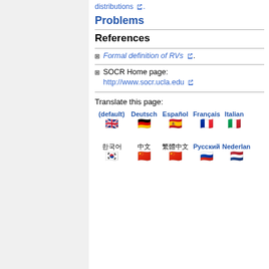distributions ↗.
Problems
References
Formal definition of RVs ↗.
SOCR Home page: http://www.socr.ucla.edu ↗
Translate this page:
[Figure (other): Language flags row 1: (default) UK flag, Deutsch German flag, Español Spanish flag, Français French flag, Italian Italian flag]
[Figure (other): Language flags row 2: Korean flag (Korean text), Chinese flag (Chinese text simplified), Chinese flag (Chinese text traditional), Русский Russian flag, Nederlands Dutch flag]